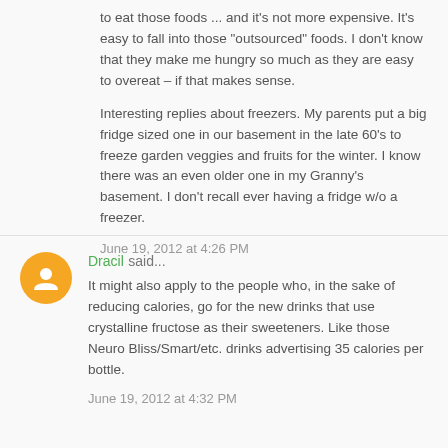to eat those foods ... and it's not more expensive. It's easy to fall into those "outsourced" foods. I don't know that they make me hungry so much as they are easy to overeat – if that makes sense.

Interesting replies about freezers. My parents put a big fridge sized one in our basement in the late 60's to freeze garden veggies and fruits for the winter. I know there was an even older one in my Granny's basement. I don't recall ever having a fridge w/o a freezer.
June 19, 2012 at 4:26 PM
Dracil said...
It might also apply to the people who, in the sake of reducing calories, go for the new drinks that use crystalline fructose as their sweeteners. Like those Neuro Bliss/Smart/etc. drinks advertising 35 calories per bottle.
June 19, 2012 at 4:32 PM